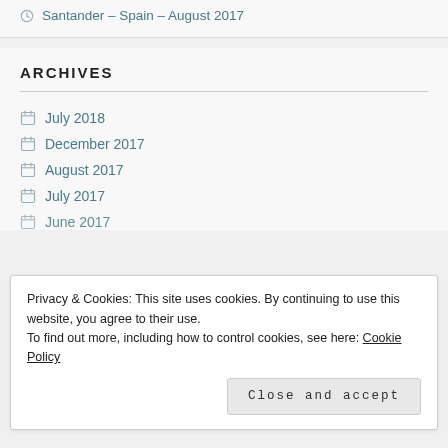Santander – Spain – August 2017
ARCHIVES
July 2018
December 2017
August 2017
July 2017
June 2017
Privacy & Cookies: This site uses cookies. By continuing to use this website, you agree to their use.
To find out more, including how to control cookies, see here: Cookie Policy
Close and accept